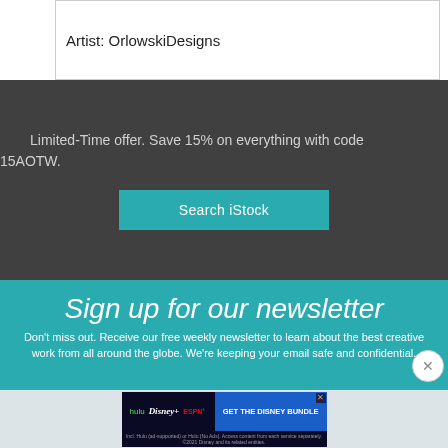Artist: OrlowskiDesigns
Limited-Time offer. Save 15% on everything with code 15AOTW.
Search iStock
Sign up for our newsletter
Don't miss out. Receive our free weekly newsletter to learn about the best creative work from all around the globe. We're keeping your email safe and confidential.
[Figure (screenshot): Disney Bundle advertisement banner showing Hulu, Disney+, and ESPN+ logos with 'GET THE DISNEY BUNDLE' call to action button and small print about Hulu subscription options.]